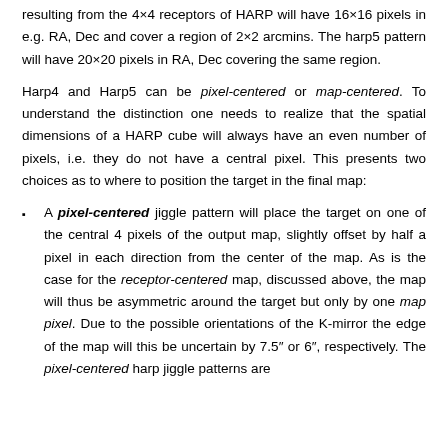resulting from the 4×4 receptors of HARP will have 16×16 pixels in e.g. RA, Dec and cover a region of 2×2 arcmins. The harp5 pattern will have 20×20 pixels in RA, Dec covering the same region.
Harp4 and Harp5 can be pixel-centered or map-centered. To understand the distinction one needs to realize that the spatial dimensions of a HARP cube will always have an even number of pixels, i.e. they do not have a central pixel. This presents two choices as to where to position the target in the final map:
A pixel-centered jiggle pattern will place the target on one of the central 4 pixels of the output map, slightly offset by half a pixel in each direction from the center of the map. As is the case for the receptor-centered map, discussed above, the map will thus be asymmetric around the target but only by one map pixel. Due to the possible orientations of the K-mirror the edge of the map will this be uncertain by 7.5″ or 6″, respectively. The pixel-centered harp jiggle patterns are